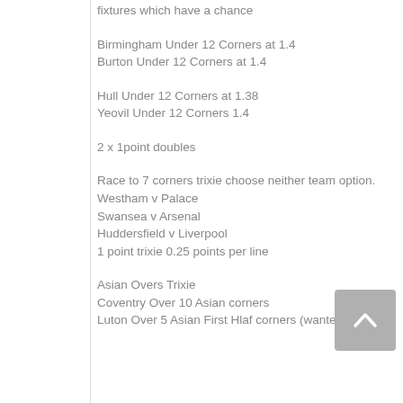fixtures which have a chance
Birmingham Under 12 Corners at 1.4
Burton Under 12 Corners at 1.4
Hull Under 12 Corners at 1.38
Yeovil Under 12 Corners 1.4
2 x 1point doubles
Race to 7 corners trixie choose neither team option.
Westham v Palace
Swansea v Arsenal
Huddersfield v Liverpool
1 point trixie 0.25 points per line
Asian Overs Trixie
Coventry Over 10 Asian corners
Luton Over 5 Asian First Hlaf corners (wanted